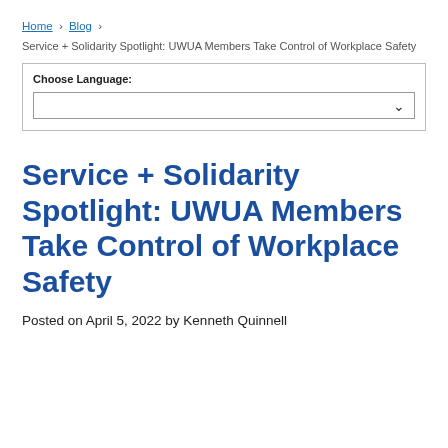Home > Blog >
Service + Solidarity Spotlight: UWUA Members Take Control of Workplace Safety
[Figure (screenshot): Language selector widget with label 'Choose Language:' and a dropdown select box]
Service + Solidarity Spotlight: UWUA Members Take Control of Workplace Safety
Posted on April 5, 2022 by Kenneth Quinnell